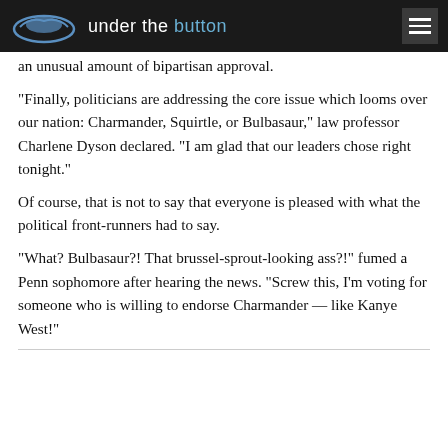under the button
an unusual amount of bipartisan approval.
“Finally, politicians are addressing the core issue which looms over our nation: Charmander, Squirtle, or Bulbasaur,” law professor Charlene Dyson declared. “I am glad that our leaders chose right tonight.”
Of course, that is not to say that everyone is pleased with what the political front-runners had to say.
“What? Bulbasaur?! That brussel-sprout-looking ass?!” fumed a Penn sophomore after hearing the news. “Screw this, I’m voting for someone who is willing to endorse Charmander — like Kanye West!”